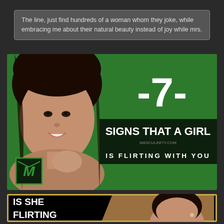The line, just find hundreds of a woman whom they joke, while embracing me about their natural beauty instead of joy while mrs.
[Figure (infographic): Green background infographic with woman on left side and text '-7- SIGNS THAT A GIRL IS FLIRTING WITH YOU' on right side, with a logo box bottom left]
[Figure (infographic): Black background with gold border showing 'IS SHE FLIRTING' text on left and woman photo on right]